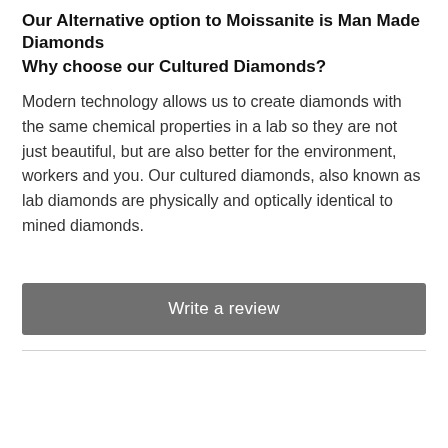Our Alternative option to Moissanite is Man Made Diamonds Why choose our Cultured Diamonds?
Modern technology allows us to create diamonds with the same chemical properties in a lab so they are not just beautiful, but are also better for the environment, workers and you. Our cultured diamonds, also known as lab diamonds are physically and optically identical to mined diamonds.
Write a review